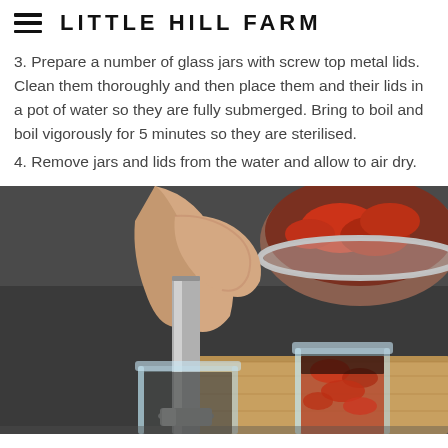LITTLE HILL FARM
3. Prepare a number of glass jars with screw top metal lids. Clean them thoroughly and then place them and their lids in a pot of water so they are fully submerged. Bring to boil and boil vigorously for 5 minutes so they are sterilised.
4. Remove jars and lids from the water and allow to air dry.
[Figure (photo): Hands using a metal tamper/funnel to pack red tomato content into glass jars on a wooden board, with a stainless steel bowl of tomatoes in background.]